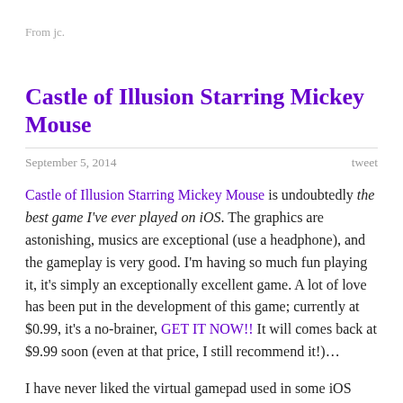From jc.
Castle of Illusion Starring Mickey Mouse
September 5, 2014    tweet
Castle of Illusion Starring Mickey Mouse is undoubtedly the best game I've ever played on iOS. The graphics are astonishing, musics are exceptional (use a headphone), and the gameplay is very good. I'm having so much fun playing it, it's simply an exceptionally excellent game. A lot of love has been put in the development of this game; currently at $0.99, it's a no-brainer, GET IT NOW!! It will comes back at $9.99 soon (even at that price, I still recommend it!)…
I have never liked the virtual gamepad used in some iOS games, but in Castle of Illusion, the virtual joystick just works. You will